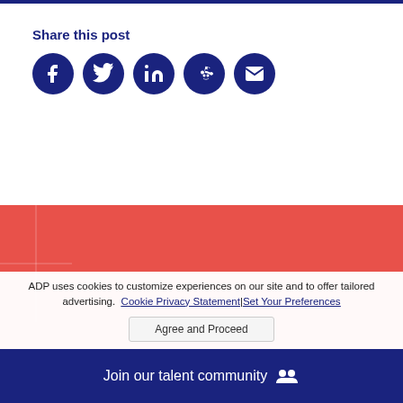Share this post
[Figure (illustration): Five social media share buttons: Facebook, Twitter, LinkedIn, Reddit, Email — all dark navy blue circles with white icons]
STAY CONNECTED
Say hello.
ADP uses cookies to customize experiences on our site and to offer tailored advertising. Cookie Privacy Statement | Set Your Preferences
Agree and Proceed
Join our talent community